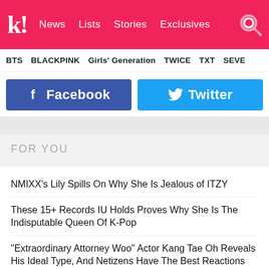Koreaboo! News  Lists  Stories  Exclusives
BTS  BLACKPINK  Girls' Generation  TWICE  TXT  SEVE
[Figure (screenshot): Facebook and Twitter share buttons]
FOR YOU
NMIXX's Lily Spills On Why She Is Jealous of ITZY
These 15+ Records IU Holds Proves Why She Is The Indisputable Queen Of K-Pop
"Extraordinary Attorney Woo" Actor Kang Tae Oh Reveals His Ideal Type, And Netizens Have The Best Reactions
"Extraordinary Attorney Woo" Confirms Production Of Season 2